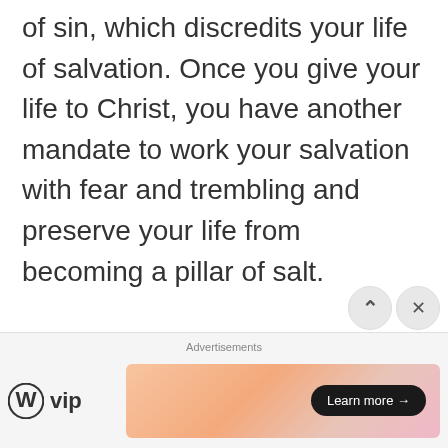of sin, which discredits your life of salvation. Once you give your life to Christ, you have another mandate to work your salvation with fear and trembling and preserve your life from becoming a pillar of salt.

Once God rescues you from the kingdom of darkness, you have to train yourself to keep moving forward, believing in the Lord Jesus
[Figure (other): Advertisement bar at bottom with WordPress VIP logo on the left and a colorful gradient banner ad on the right with a 'Learn more →' button. Navigation up and close (X) buttons overlaid at the right side.]